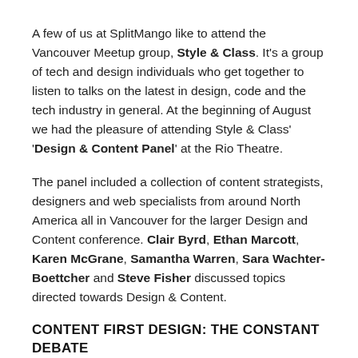A few of us at SplitMango like to attend the Vancouver Meetup group, Style & Class. It's a group of tech and design individuals who get together to listen to talks on the latest in design, code and the tech industry in general. At the beginning of August we had the pleasure of attending Style & Class' 'Design & Content Panel' at the Rio Theatre.
The panel included a collection of content strategists, designers and web specialists from around North America all in Vancouver for the larger Design and Content conference. Clair Byrd, Ethan Marcott, Karen McGrane, Samantha Warren, Sara Wachter-Boettcher and Steve Fisher discussed topics directed towards Design & Content.
CONTENT FIRST DESIGN: THE CONSTANT DEBATE